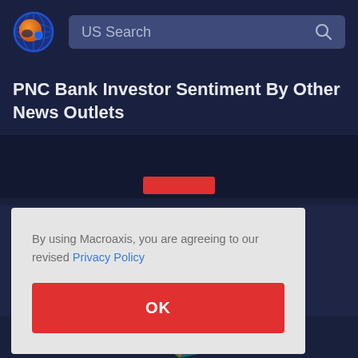US Search
PNC Bank Investor Sentiment By Other News Outlets
[Figure (screenshot): Partial bar chart area visible behind modal dialog, dark background with a red bar element at top]
By using Macroaxis, you are agreeing to our revised Privacy Policy
OK
[Figure (pie-chart): Partial pie chart visible at bottom of page with green, orange, and other colored slices, cut off by page boundary]